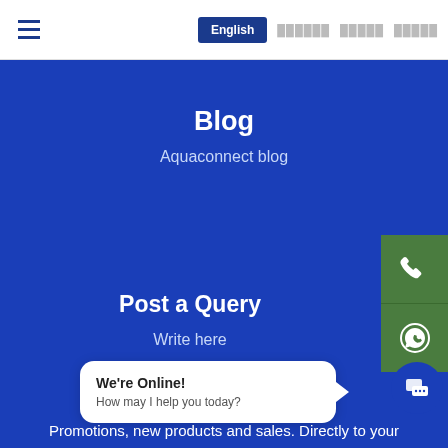≡  English  ▓▓▓▓▓▓  ▓▓▓▓▓  ▓▓▓▓▓
Blog
Aquaconnect blog
Post a Query
Write here
We're Online!
How may I help you today?
Promotions, new products and sales. Directly to your